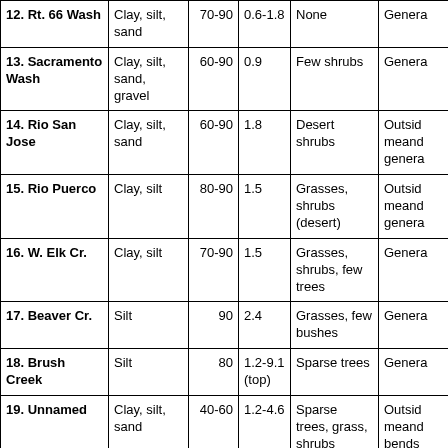| 12. Rt. 66 Wash | Clay, silt, sand | 70-90 | 0.6-1.8 | None | Genera... |
| 13. Sacramento Wash | Clay, silt, sand, gravel | 60-90 | 0.9 | Few shrubs | Genera... |
| 14. Rio San Jose | Clay, silt, sand | 60-90 | 1.8 | Desert shrubs | Outside meand... genera... |
| 15. Rio Puerco | Clay, silt | 80-90 | 1.5 | Grasses, shrubs (desert) | Outside meand... genera... |
| 16. W. Elk Cr. | Clay, silt | 70-90 | 1.5 | Grasses, shrubs, few trees | Genera... |
| 17. Beaver Cr. | Silt | 90 | 2.4 | Grasses, few bushes | Genera... |
| 18. Brush Creek | Silt | 80 | 1.2-9.1 (top) | Sparse trees | Genera... |
| 19. Unnamed | Clay, silt, sand | 40-60 | 1.2-4.6 | Sparse trees, grass, shrubs | Outside meand... bends... |